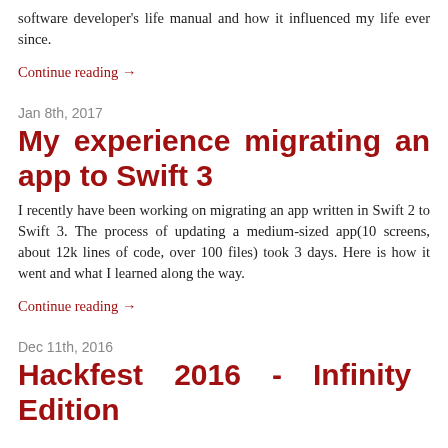software developer's life manual and how it influenced my life ever since.
Continue reading →
Jan 8th, 2017
My experience migrating an app to Swift 3
I recently have been working on migrating an app written in Swift 2 to Swift 3. The process of updating a medium-sized app(10 screens, about 12k lines of code, over 100 files) took 3 days. Here is how it went and what I learned along the way.
Continue reading →
Dec 11th, 2016
Hackfest 2016 - Infinity Edition